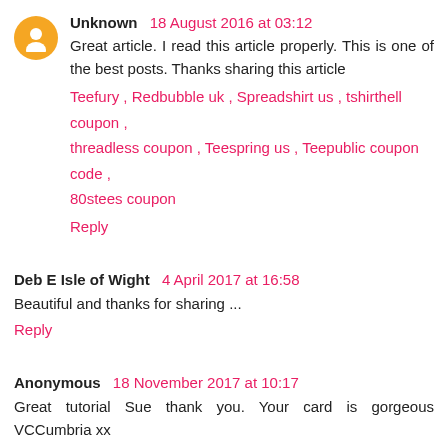Unknown 18 August 2016 at 03:12
Great article. I read this article properly. This is one of the best posts. Thanks sharing this article
Teefury , Redbubble uk , Spreadshirt us , tshirthell coupon , threadless coupon , Teespring us , Teepublic coupon code , 80stees coupon
Reply
Deb E Isle of Wight 4 April 2017 at 16:58
Beautiful and thanks for sharing ...
Reply
Anonymous 18 November 2017 at 10:17
Great tutorial Sue thank you. Your card is gorgeous VCCumbria xx
Reply